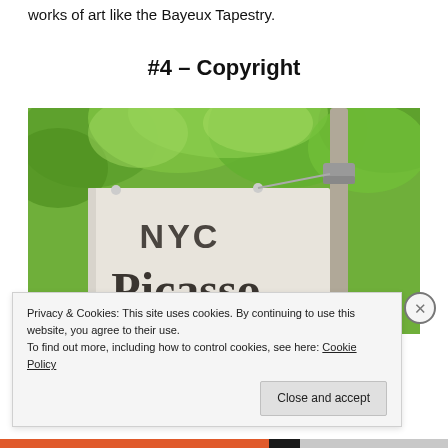works of art like the Bayeux Tapestry.
#4 – Copyright
[Figure (photo): Outdoor NYC banner sign reading 'NYC Picasso' mounted on a pole against green tree foliage background]
Privacy & Cookies: This site uses cookies. By continuing to use this website, you agree to their use.
To find out more, including how to control cookies, see here: Cookie Policy
Close and accept